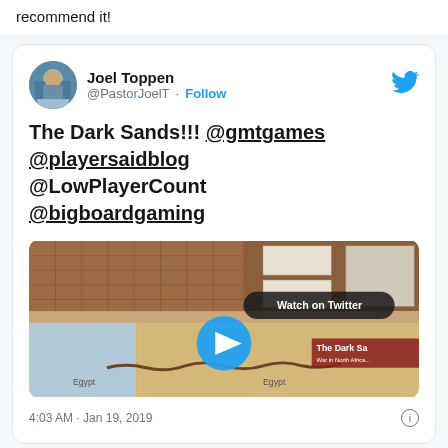recommend it!
[Figure (screenshot): Tweet by Joel Toppen (@PastorJoelT) with text 'The Dark Sands!!! @gmtgames @playersaidblog @LowPlayerCount @bigboardgaming' and a video thumbnail showing a board game map. Timestamp: 4:03 AM · Jan 19, 2019]